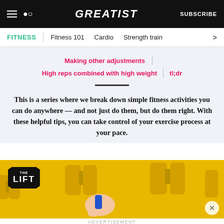GREATIST | SUBSCRIBE
FITNESS | Fitness 101 | Cardio | Strength train
Making other adjustments | High reps combined with high weight | tl;dr
This is a series where we break down simple fitness activities you can do anywhere — and not just do them, but do them right. With these helpful tips, you can take control of your exercise process at your pace.
[Figure (photo): Photo of yellow dumbbells on a yellow background with THE LIFT badge/logo overlay]
ADVERTISEMENT
[Figure (infographic): Advertisement banner: Let's be friends with (health) benefits. Follow GREATIST on Instagram. FOLLOW US button.]